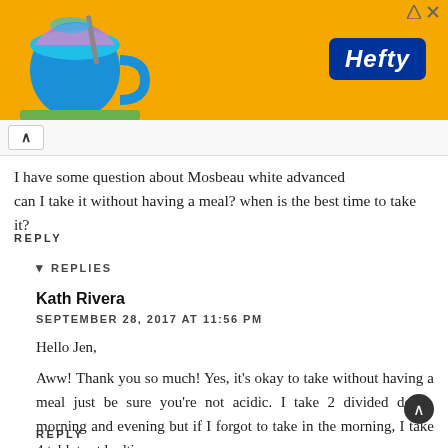[Figure (screenshot): Orange Hefty advertisement banner with a mug/product illustration on the left and the Hefty logo on the right. Close button icons in top right corner.]
I have some question about Mosbeau white advanced can I take it without having a meal? when is the best time to take it?
REPLY
▾ REPLIES
Kath Rivera
SEPTEMBER 28, 2017 AT 11:56 PM
Hello Jen,
Aww! Thank you so much! Yes, it's okay to take without having a meal just be sure you're not acidic. I take 2 divided doses, morning and evening but if I forgot to take in the morning, I take 4 tablets at bedtime.
REPLY